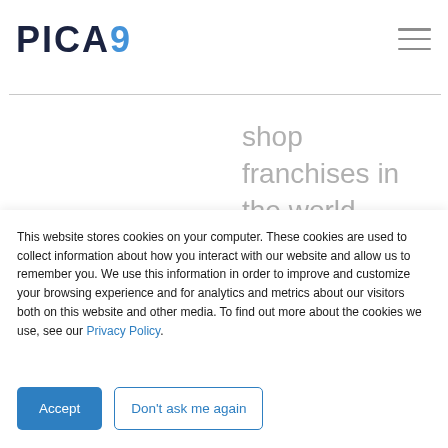[Figure (logo): PICA9 logo in dark navy with blue 9]
shop franchises in the world. With more than 12,000 restaurants in 86 countries...
This website stores cookies on your computer. These cookies are used to collect information about how you interact with our website and allow us to remember you. We use this information in order to improve and customize your browsing experience and for analytics and metrics about our visitors both on this website and other media. To find out more about the cookies we use, see our Privacy Policy.
Accept
Don't ask me again